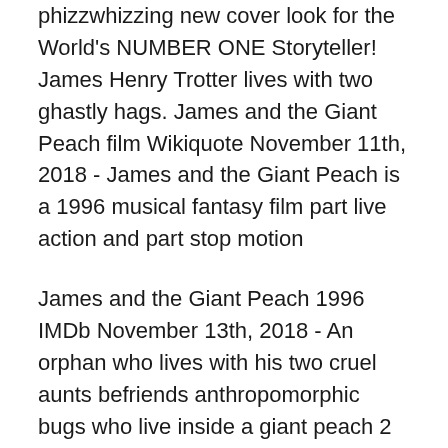phizzwhizzing new cover look for the World's NUMBER ONE Storyteller! James Henry Trotter lives with two ghastly hags. James and the Giant Peach film Wikiquote November 11th, 2018 - James and the Giant Peach is a 1996 musical fantasy film part live action and part stop motion
James and the Giant Peach 1996 IMDb November 13th, 2018 - An orphan who lives with his two cruel aunts befriends anthropomorphic bugs who live inside a giant peach 2 James and the Giant Peach Dahl, Roald (2007). James and the Giant Peach. Puffin Books Year Level: Years 3-7 Synopsis of the story James is an orphan, forced to live